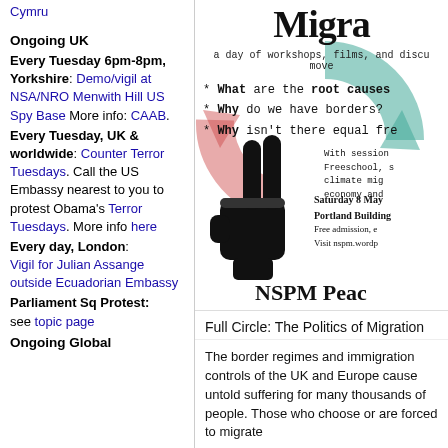Cymru
Ongoing UK
Every Tuesday 6pm-8pm, Yorkshire: Demo/vigil at NSA/NRO Menwith Hill US Spy Base More info: CAAB.
Every Tuesday, UK & worldwide: Counter Terror Tuesdays. Call the US Embassy nearest to you to protest Obama's Terror Tuesdays. More info here
Every day, London: Vigil for Julian Assange outside Ecuadorian Embassy
Parliament Sq Protest: see topic page
Ongoing Global
[Figure (illustration): Event poster for 'Full Circle: The Politics of Migration' - a day of workshops, films and discussions about migration. Features a raised fist with peace/victory sign graphic, circular arrows in green and red in background. Bullet points: What are the root causes, Why do we have borders?, Why isn't there equal fre[edom of movement]. With sessions from Freeschool, on climate migration, economy. Saturday 8 May, Portland Building, Free admission. Visit nspm.wordp[ress]. NSPM Peace [Movement logo].]
Full Circle: The Politics of Migration
The border regimes and immigration controls of the UK and Europe cause untold suffering for many thousands of people. Those who choose or are forced to migrate